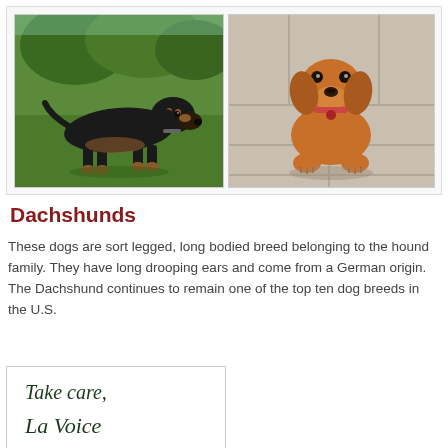[Figure (photo): Two photos of dachshund dogs side by side. Left: black and tan dachshund standing on grass. Right: reddish-brown dachshund puppy sitting on pavement.]
Dachshunds
These dogs are sort legged, long bodied breed belonging to the hound family. They have long drooping ears and come from a German origin. The Dachshund continues to remain one of the top ten dog breeds in the U.S.
[Figure (illustration): Cursive handwritten text reading: Take care, La Voce]